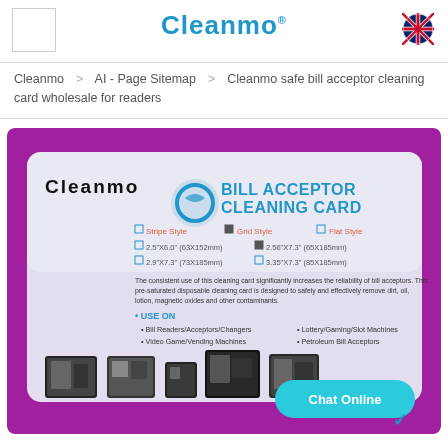[Figure (logo): Cleanmo brand logo with registered trademark symbol, centered in header]
Cleanmo > AI - Page Sitemap > Cleanmo safe bill acceptor cleaning card wholesale for readers
[Figure (photo): Product image of Cleanmo Bill Acceptor Cleaning Card package showing product details, sizes, usage instructions, and application images of bill readers and vending machines. A teal 'Chat Online' button overlay is visible in the bottom right corner of the image.]